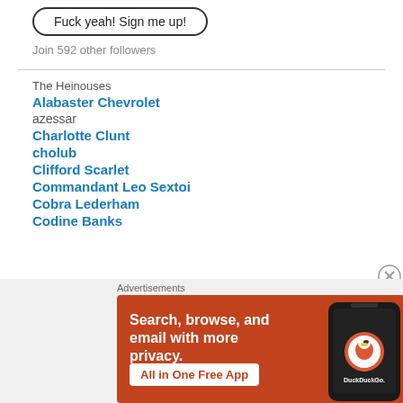Fuck yeah! Sign me up!
Join 592 other followers
The Heinouses
Alabaster Chevrolet
azessar
Charlotte Clunt
cholub
Clifford Scarlet
Commandant Leo Sextoi
Cobra Lederham
Codine Banks
[Figure (screenshot): DuckDuckGo advertisement banner: orange background with text 'Search, browse, and email with more privacy. All in One Free App' and a phone image showing the DuckDuckGo app.]